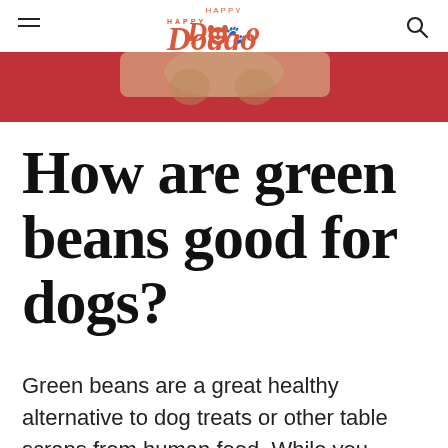HAPPY Doggo
[Figure (photo): Partial view of a dog against a red background, visible at the top of the page]
How are green beans good for dogs?
Green beans are a great healthy alternative to dog treats or other table scraps from human food. While you should never give your dog